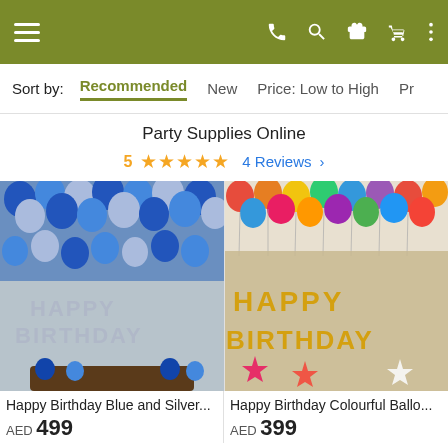Navigation header with hamburger menu, phone, search, gift, cart, and more icons
Sort by: Recommended  New  Price: Low to High  Pr
Party Supplies Online
5 ★★★★★  4 Reviews >
[Figure (photo): Happy Birthday Blue and Silver balloon decoration with silver letter balloons spelling HAPPY BIRTHDAY and blue/silver helium balloons covering the ceiling]
[Figure (photo): Happy Birthday Colourful Balloon decoration with gold letter balloons spelling HAPPY BIRTHDAY and multicolored helium balloons at the top]
Happy Birthday Blue and Silver...
Happy Birthday Colourful Ballo...
AED 499
AED 399